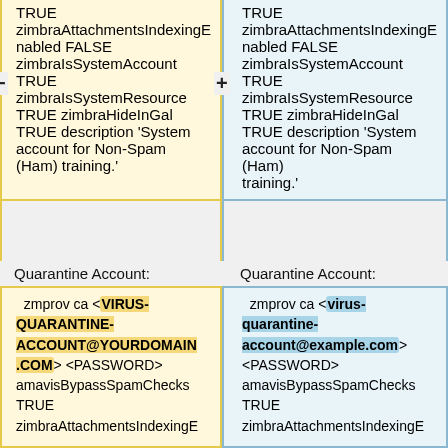TRUE zimbraAttachmentsIndexingEnabled FALSE zimbraIsSystemAccount TRUE zimbraIsSystemResource TRUE zimbraHideInGal TRUE description 'System account for Non-Spam (Ham) training.'
TRUE zimbraAttachmentsIndexingEnabled FALSE zimbraIsSystemAccount TRUE zimbraIsSystemResource TRUE zimbraHideInGal TRUE description 'System account for Non-Spam (Ham) training.'
Quarantine Account:
Quarantine Account:
zmprov ca <VIRUS-QUARANTINE-ACCOUNT@YOURDOMAIN.COM> <PASSWORD> amavisBypassSpamChecks TRUE zimbraAttachmentsIndexingE
zmprov ca <virus-quarantine-account@example.com> <PASSWORD> amavisBypassSpamChecks TRUE zimbraAttachmentsIndexingE